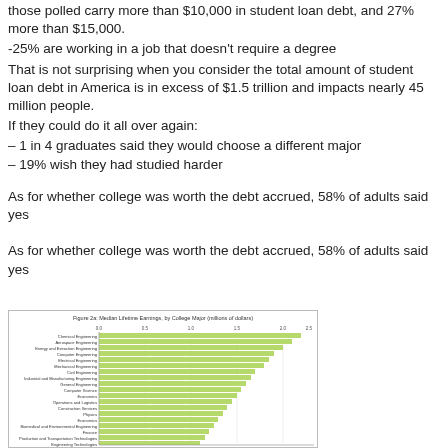those polled carry more than $10,000 in student loan debt, and 27% more than $15,000.
-25% are working in a job that doesn't require a degree
That is not surprising when you consider the total amount of student loan debt in America is in excess of $1.5 trillion and impacts nearly 45 million people.
If they could do it all over again:
– 1 in 4 graduates said they would choose a different major
– 19% wish they had studied harder
As for whether college was worth the debt accrued, 58% of adults said yes
As for whether college was worth the debt accrued, 58% of adults said yes
[Figure (bar-chart): Horizontal bar chart showing median lifetime earnings by college major. Chemical Engineering at top, Engineering Technologies near bottom. X-axis from 0.0 to 2.5 in increments of 0.5. Bars are light green/yellow-green color.]